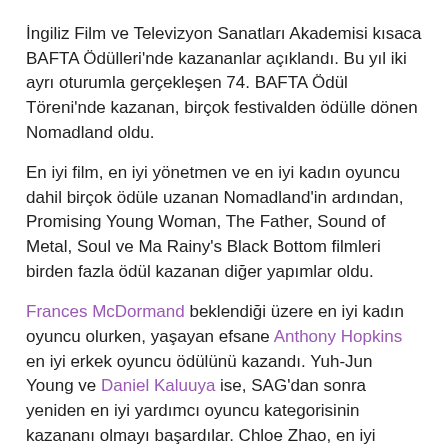İngiliz Film ve Televizyon Sanatları Akademisi kısaca BAFTA Ödülleri'nde kazananlar açıklandı. Bu yıl iki ayrı oturumla gerçekleşen 74. BAFTA Ödül Töreni'nde kazanan, birçok festivalden ödülle dönen Nomadland oldu.
En iyi film, en iyi yönetmen ve en iyi kadın oyuncu dahil birçok ödüle uzanan Nomadland'in ardından, Promising Young Woman, The Father, Sound of Metal, Soul ve Ma Rainy's Black Bottom filmleri birden fazla ödül kazanan diğer yapımlar oldu.
Frances McDormand beklendiği üzere en iyi kadın oyuncu olurken, yaşayan efsane Anthony Hopkins en iyi erkek oyuncu ödülünü kazandı. Yuh-Jun Young ve Daniel Kaluuya ise, SAG'dan sonra yeniden en iyi yardımcı oyuncu kategorisinin kazananı olmayı başardılar. Chloe Zhao, en iyi yönetmen ödülünü kazandı ve Oscar için favori olduğunu bir kez daha kanıtladı.
İşte tüm kazananlar: